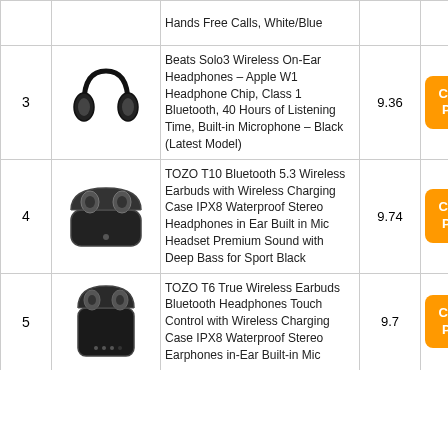| # | Image | Product | Score | Link |
| --- | --- | --- | --- | --- |
|  |  | Hands Free Calls, White/Blue |  | Check Price |
| 3 | [Beats Solo3 image] | Beats Solo3 Wireless On-Ear Headphones – Apple W1 Headphone Chip, Class 1 Bluetooth, 40 Hours of Listening Time, Built-in Microphone – Black (Latest Model) | 9.36 | Check Price |
| 4 | [TOZO T10 image] | TOZO T10 Bluetooth 5.3 Wireless Earbuds with Wireless Charging Case IPX8 Waterproof Stereo Headphones in Ear Built in Mic Headset Premium Sound with Deep Bass for Sport Black | 9.74 | Check Price |
| 5 | [TOZO T6 image] | TOZO T6 True Wireless Earbuds Bluetooth Headphones Touch Control with Wireless Charging Case IPX8 Waterproof Stereo Earphones in-Ear Built-in Mic | 9.7 | Check Price |